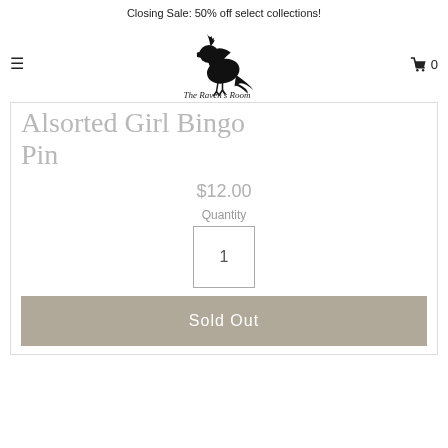Closing Sale: 50% off select collections!
[Figure (logo): The Raven's Room logo: a black raven bird with the text 'The Raven's Room' underneath]
Alsorted Girl Bingo Pin
$12.00
Quantity
1
Sold Out